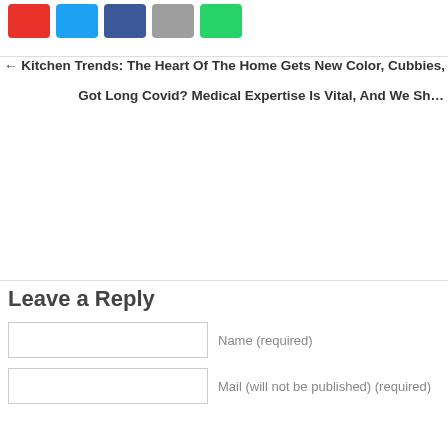[Figure (other): Social sharing icon buttons: red, cyan/Twitter, blue/Facebook, gray/email, green/WhatsApp]
← Kitchen Trends: The Heart Of The Home Gets New Color, Cubbies, Conne…
Got Long Covid? Medical Expertise Is Vital, And We Sh…
Leave a Reply
Name (required)
Mail (will not be published) (required)
Website